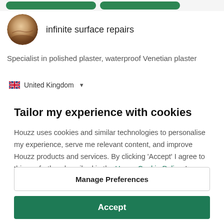[Figure (screenshot): Top green navigation buttons on light grey bar]
[Figure (photo): Round avatar photo of a plastered sphere-like texture]
infinite surface repairs
Specialist in polished plaster, waterproof Venetian plaster
🇬🇧 United Kingdom ▼
Tailor my experience with cookies
Houzz uses cookies and similar technologies to personalise my experience, serve me relevant content, and improve Houzz products and services. By clicking 'Accept' I agree to this, as further described in the Houzz Cookie Policy. I can reject non-
Manage Preferences
Accept